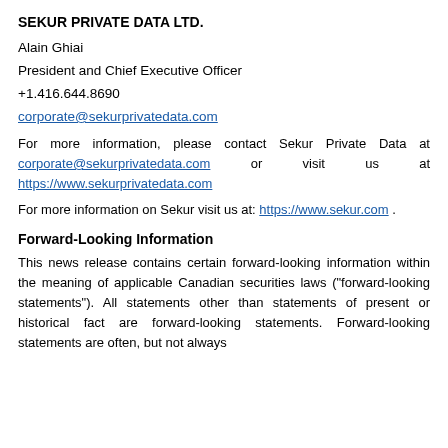SEKUR PRIVATE DATA LTD.
Alain Ghiai
President and Chief Executive Officer
+1.416.644.8690
corporate@sekurprivatedata.com
For more information, please contact Sekur Private Data at corporate@sekurprivatedata.com or visit us at https://www.sekurprivatedata.com
For more information on Sekur visit us at: https://www.sekur.com .
Forward-Looking Information
This news release contains certain forward-looking information within the meaning of applicable Canadian securities laws ("forward-looking statements"). All statements other than statements of present or historical fact are forward-looking statements. Forward-looking statements are often, but not always